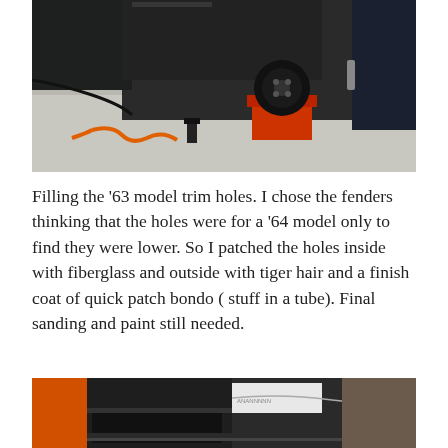[Figure (photo): A dark-colored car fender/body panel raised on a red jack stand in a garage. An orange air hose and a small tool are visible on the floor. The image shows automotive bodywork repair setup.]
Filling the ’63 model trim holes. I chose the fenders thinking that the holes were for a ‘64 model only to find they were lower. So I patched the holes inside with fiberglass and outside with tiger hair and a finish coat of quick patch bondo ( stuff in a tube). Final sanding and paint still needed.
[Figure (photo): A cropped interior/undercarriage view of a classic car showing dark painted metal panels, wiring, and what appears to be the trunk or engine bay area. Orange and other materials visible.]